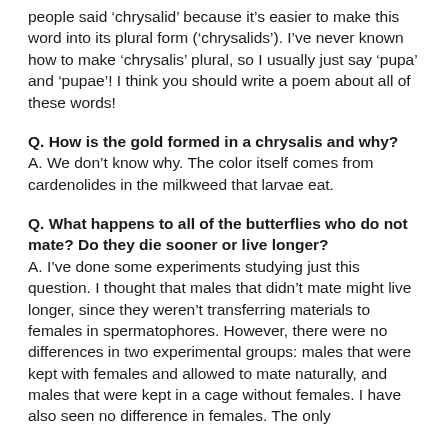people said 'chrysalid' because it's easier to make this word into its plural form ('chrysalids'). I've never known how to make 'chrysalis' plural, so I usually just say 'pupa' and 'pupae'! I think you should write a poem about all of these words!
Q. How is the gold formed in a chrysalis and why? A. We don't know why. The color itself comes from cardenolides in the milkweed that larvae eat.
Q. What happens to all of the butterflies who do not mate? Do they die sooner or live longer? A. I've done some experiments studying just this question. I thought that males that didn't mate might live longer, since they weren't transferring materials to females in spermatophores. However, there were no differences in two experimental groups: males that were kept with females and allowed to mate naturally, and males that were kept in a cage without females. I have also seen no difference in females. The only